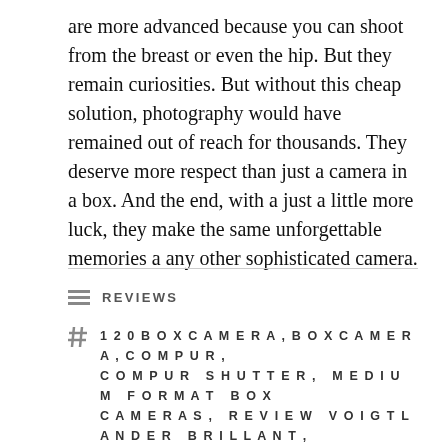are more advanced because you can shoot from the breast or even the hip. But they remain curiosities. But without this cheap solution, photography would have remained out of reach for thousands. They deserve more respect than just a camera in a box. And the end, with a just a little more luck, they make the same unforgettable memories a any other sophisticated camera.
REVIEWS
120 BOX CAMERA , BOX CAMERA , COMPUR , COMPUR SHUTTER , MEDIUM FORMAT BOX CAMERAS , REVIEW VOIGTLANDER BRILLANT , REVIEW ZEISS IKON BOX TENGOR , SKOPAR 75 MM F3.5 , SKOPAR LENS , VINTAGE BOX CAMERAS , VINTAGE CAMERAS , VOIGTLANDER BRILLANT , VOIGTLANDER BRILLANT V6 , VOIGTLANDER BRILLANT-S , VOIGTLANDER SKOPAR , ZEIS IKON TENGOR , ZEISS IKON 54/2